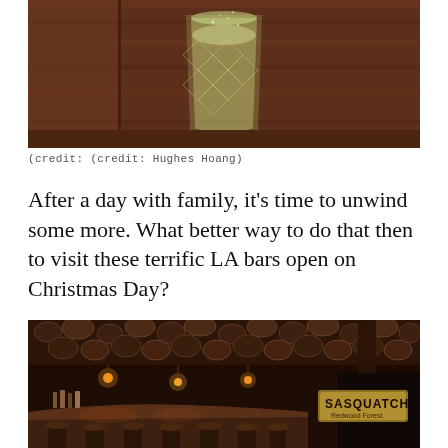[Figure (photo): A yellowish-green cocktail in a cut crystal glass sitting on a dark wooden bar surface with wood paneling in the background]
(credit: (credit: Hughes Hoang)
After a day with family, it's time to unwind some more. What better way to do that then to visit these terrific LA bars open on Christmas Day?
[Figure (photo): Interior of Sasquatch bar with rustic wood-slice ceiling decoration, warm pendant lights, a long bar counter with stools, and a Sasquatch sign visible on the right wall]